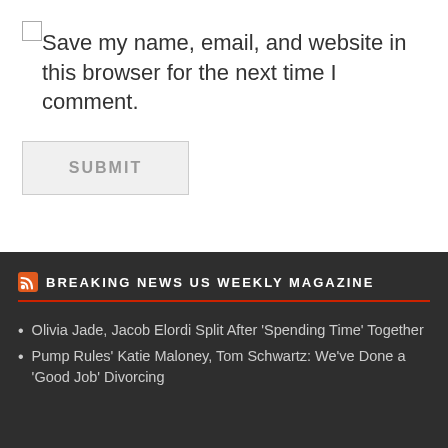Save my name, email, and website in this browser for the next time I comment.
SUBMIT
BREAKING NEWS US WEEKLY MAGAZINE
Olivia Jade, Jacob Elordi Split After 'Spending Time' Together
Pump Rules' Katie Maloney, Tom Schwartz: We've Done a 'Good Job' Divorcing